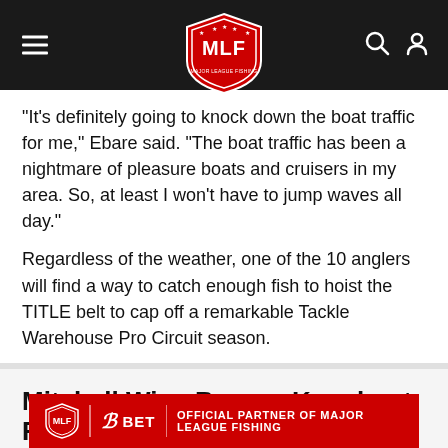MLF Major League Fishing header with hamburger menu, logo, search and user icons
“It’s definitely going to knock down the boat traffic for me,” Ebare said. “The boat traffic has been a nightmare of pleasure boats and cruisers in my area. So, at least I won’t have to jump waves all day.”
Regardless of the weather, one of the 10 anglers will find a way to catch enough fish to hoist the TITLE belt to cap off a remarkable Tackle Warehouse Pro Circuit season.
Mitchell Wins Banner Knockout Round with 24-8, TITLE’S Final-Day Field is Set
[Figure (logo): BetUS official partner of Major League Fishing ad banner in red with MLF logo and bet branding]